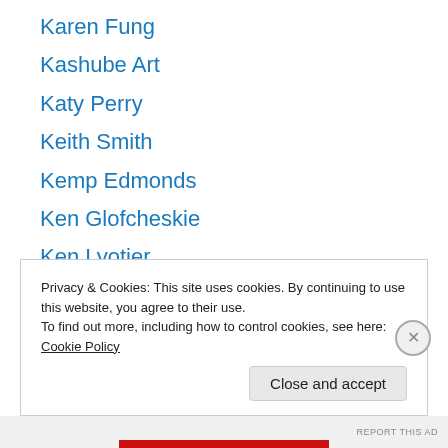Karen Fung
Kashube Art
Katy Perry
Keith Smith
Kemp Edmonds
Ken Glofcheskie
Ken Lyotier
Kentizen Restaurant
Kerry Jang
Kevin King
Kevin Scrimgeour
Kim Kerr
Kite Flying
Privacy & Cookies: This site uses cookies. By continuing to use this website, you agree to their use. To find out more, including how to control cookies, see here: Cookie Policy
Close and accept